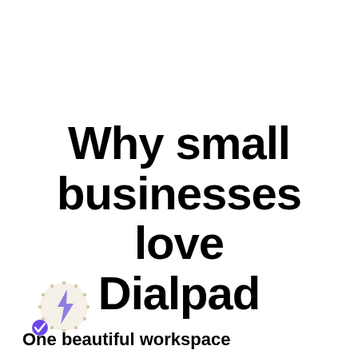Why small businesses love Dialpad
[Figure (illustration): A circular icon with a dotted border, containing a lightning bolt symbol in the center, and a small purple checkmark badge in the lower-left corner]
One beautiful workspace